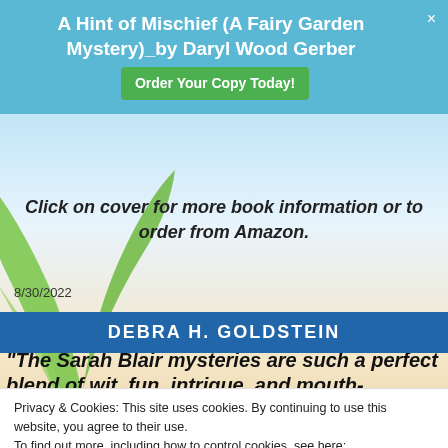A Hint of Mischief (A Fairy Garden Mystery)_by Daryl Wood Gerber
Order Your Copy Today!
Click on cover for more book information or to order from Amazon.
8/30/2022
DEBRA H. GOLDSTEIN
“The Sarah Blair mysteries are such a perfect blend of wit, fun, intrigue, and mouth-watering
Privacy & Cookies: This site uses cookies. By continuing to use this website, you agree to their use. To find out more, including how to control cookies, see here: Cookie Policy
Close and accept